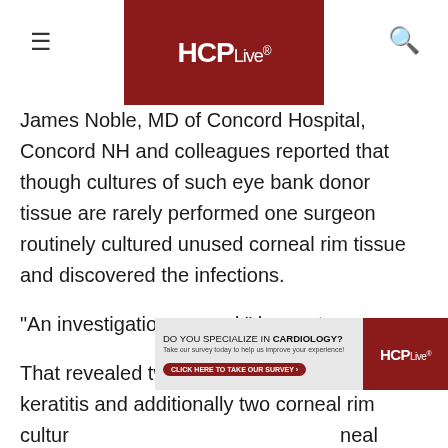HCPLive®
James Noble, MD of Concord Hospital, Concord NH and colleagues reported that though cultures of such eye bank donor tissue are rarely performed one surgeon routinely cultured unused corneal rim tissue and discovered the infections.
“An investigation ensued,” he wrote.
That revealed two confirmed cases of fungal keratitis and additionally two corneal rim cultur[es positive for Candida from corneal tissue from the same] eye bank. [Authors did n]ot identify the bank.
[Figure (infographic): Advertisement banner: DO YOU SPECIALIZE IN CARDIOLOGY? Take our survey today to help us improve your experience! CLICK HERE TO TAKE OUR SURVEY. HCPLive logo on dark red background.]